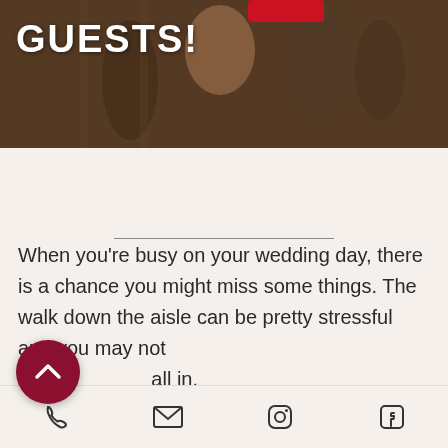[Figure (photo): Wedding photo banner with the text GUESTS! in white bold letters on a dark, warm-toned background photo of wedding guests]
When you’re busy on your wedding day, there is a chance you might miss some things. The walk down the aisle can be pretty stressful and you may not take it all in.
You don’t want to miss Dad’s smiling
Phone | Email | Instagram | Facebook